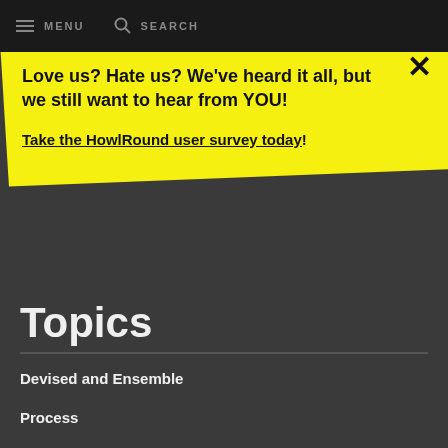MENU   SEARCH
Love us? Hate us? We've heard it all, but we still want to hear from YOU!

Take the HowlRound user survey today!
Topics
Devised and Ensemble
Process